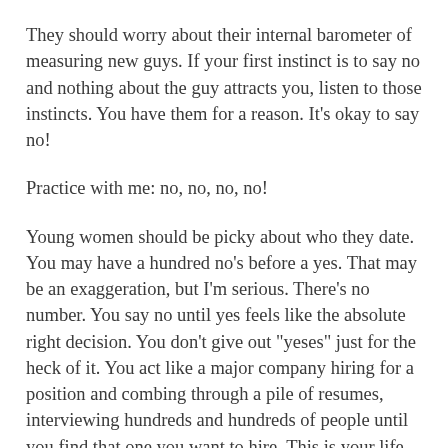They should worry about their internal barometer of measuring new guys. If your first instinct is to say no and nothing about the guy attracts you, listen to those instincts. You have them for a reason. It's okay to say no!
Practice with me: no, no, no, no!
Young women should be picky about who they date. You may have a hundred no's before a yes. That may be an exaggeration, but I'm serious. There's no number. You say no until yes feels like the absolute right decision. You don't give out "yeses" just for the heck of it. You act like a major company hiring for a position and combing through a pile of resumes, interviewing hundreds and hundreds of people until you find that one you want to hire. This is your life, after all. Pick the competitive candidates. Say no to